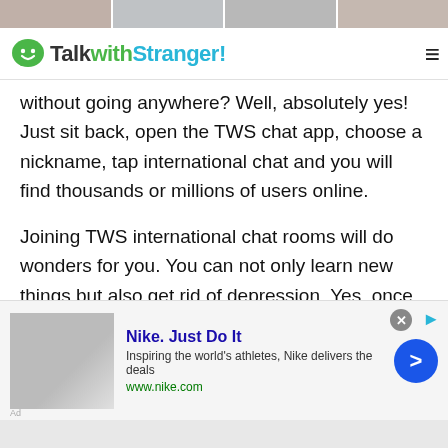[Figure (photo): Row of thumbnail photos at the top of the page]
TalkwithStranger!
without going anywhere? Well, absolutely yes! Just sit back, open the TWS chat app, choose a nickname, tap international chat and you will find thousands or millions of users online.
Joining TWS international chat rooms will do wonders for you. You can not only learn new things but also get rid of depression. Yes, once you start talking to strangers in Chad and sharing your feelings via international chat, you will surely experience stress relief. Remember, meeting new people and learning new perspectives will help you
[Figure (screenshot): Nike advertisement banner: Nike. Just Do It — Inspiring the world's athletes, Nike delivers the deals — www.nike.com]